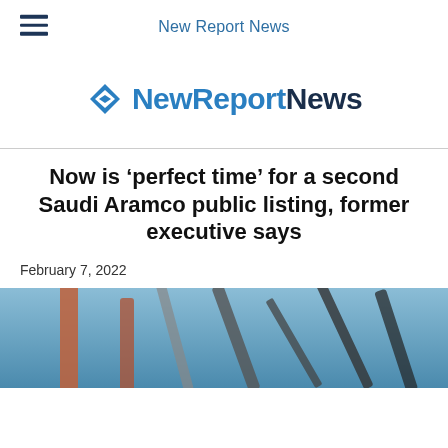New Report News
[Figure (logo): NewReportNews logo with blue diamond chevron icon and dark blue bold text]
Now is ‘perfect time’ for a second Saudi Aramco public listing, former executive says
February 7, 2022
[Figure (photo): Close-up photo of industrial pipes or drilling equipment against a blue sky background]